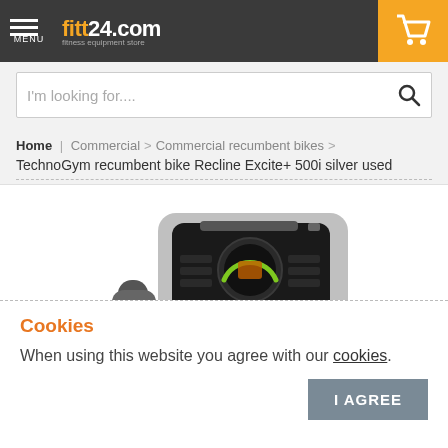fitt24.com — MENU — shopping cart
I'm looking for....
Home | Commercial > Commercial recumbent bikes > TechnoGym recumbent bike Recline Excite+ 500i silver used
[Figure (photo): TechnoGym recumbent bike Recline Excite+ 500i silver — close-up of the console/display panel with buttons and controls, with handlebars visible on both sides]
Cookies
When using this website you agree with our cookies.
I AGREE